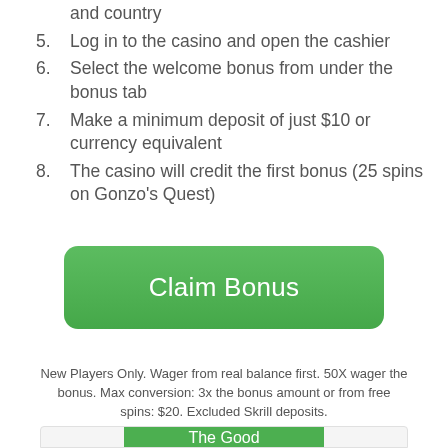and country
5. Log in to the casino and open the cashier
6. Select the welcome bonus from under the bonus tab
7. Make a minimum deposit of just $10 or currency equivalent
8. The casino will credit the first bonus (25 spins on Gonzo’s Quest)
[Figure (other): Green 'Claim Bonus' button]
New Players Only. Wager from real balance first. 50X wager the bonus. Max conversion: 3x the bonus amount or from free spins: $20. Excluded Skrill deposits.
[Figure (other): Green bar with 'The Good' label at the bottom of the page]